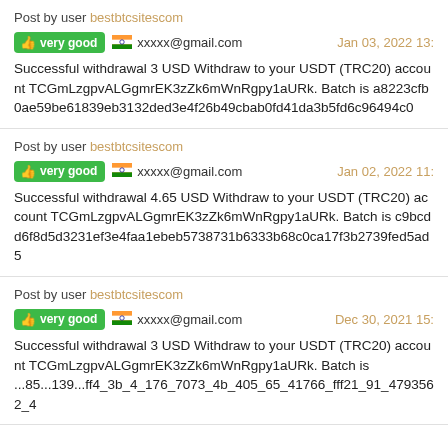Post by user bestbtcsitescom
very good  xxxxx@gmail.com  Jan 03, 2022 13:
Successful withdrawal 3 USD Withdraw to your USDT (TRC20) account TCGmLzgpvALGgmrEK3zZk6mWnRgpy1aURk. Batch is a8223cfb0ae59be61839eb3132ded3e4f26b49cbab0fd41da3b5fd6c96494c0
Post by user bestbtcsitescom
very good  xxxxx@gmail.com  Jan 02, 2022 11:
Successful withdrawal 4.65 USD Withdraw to your USDT (TRC20) account TCGmLzgpvALGgmrEK3zZk6mWnRgpy1aURk. Batch is c9bcdd6f8d5d3231ef3e4faa1ebeb5738731b6333b68c0ca17f3b2739fed5ad5
Post by user bestbtcsitescom
very good  xxxxx@gmail.com  Dec 30, 2021 15:
Successful withdrawal 3 USD Withdraw to your USDT (TRC20) account TCGmLzgpvALGgmrEK3zZk6mWnRgpy1aURk. Batch is 85...139...ff4_3b_4_176_7073_4b_405_65_41766_fff21_91_4793562_4